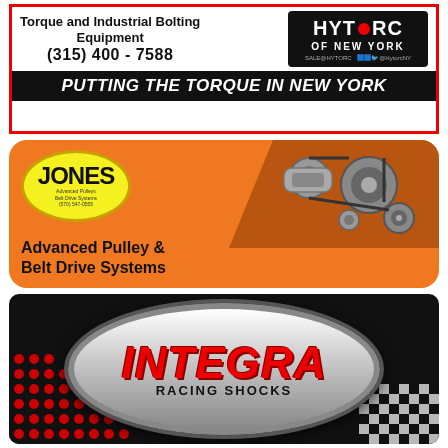[Figure (illustration): HYTORC of New York advertisement. White background with red border. Left side shows text 'Torque and Industrial Bolting Equipment' and phone number '(315) 400-7588'. Right side has black background with HYTORC OF NEW YORK logo (red dot in O). Bottom black bar reads 'PUTTING THE TORQUE IN NEW YORK' in white italic bold text.]
[Figure (illustration): Jones advertisement on orange background with rounded corners. Yellow oval badge with 'JONES' text and small contact info. Right side shows engine/pulley machinery image. Bottom text reads 'Advanced Pulley & Belt Drive Systems'.]
[Figure (illustration): Integra Racing Shocks advertisement. Black background with red dot pattern on left. Center oval logo with 'INTEGRA' in large red italic font and 'RACING SHOCKS' below in black. Checkered pattern on right edge.]